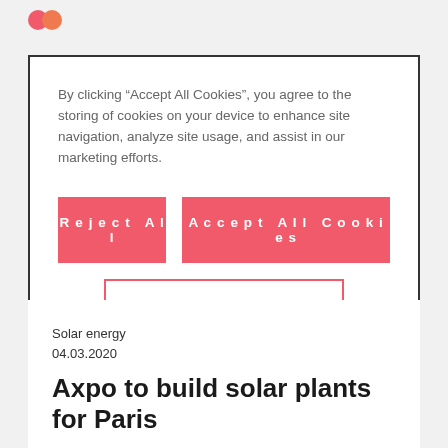[logo]
By clicking “Accept All Cookies”, you agree to the storing of cookies on your device to enhance site navigation, analyze site usage, and assist in our marketing efforts.
Reject All
Accept All Cookies
Cookies Settings
Solar energy
04.03.2020
Axpo to build solar plants for Paris